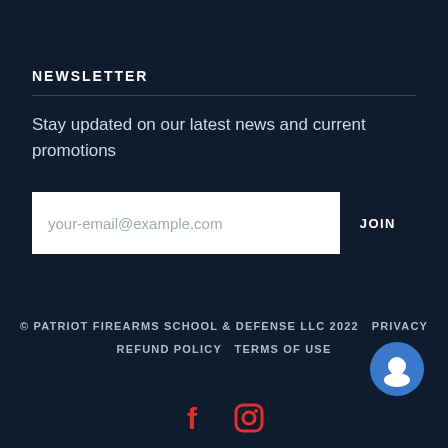NEWSLETTER
Stay updated on our latest news and current promotions
[Figure (other): Email signup form with placeholder 'your-email@example.com' and a JOIN button]
© PATRIOT FIREARMS SCHOOL & DEFENSE LLC 2022   PRIVACY   REFUND POLICY   TERMS OF USE
[Figure (other): Blue circular chat bubble icon]
[Figure (other): Facebook and Instagram social media icons in red/pink]